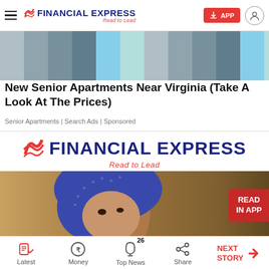FINANCIAL EXPRESS — Read to Lead
[Figure (photo): Aerial/upward view of urban apartment buildings with blue sky]
New Senior Apartments Near Virginia (Take A Look At The Prices)
Senior Apartments | Search Ads | Sponsored
[Figure (logo): Financial Express logo with tagline Read to Lead]
[Figure (photo): Person wearing blue patterned headscarf, looking down, indoor setting]
Latest | Money | Top News 26 | Share | NEXT STORY